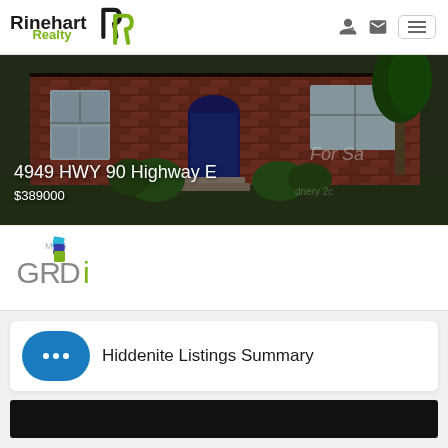[Figure (logo): Rinehart Realty logo with stylized R icon in black and green]
[Figure (photo): Brick house with blue front door and landscaping. Address overlay: 4949 HWY 90 Highway E. Price overlay: $389000. For Sale sign partially visible.]
[Figure (logo): MLS GRID logo with stacked square layers icon in blue, teal, and green above text]
Hiddenite Listings Summary